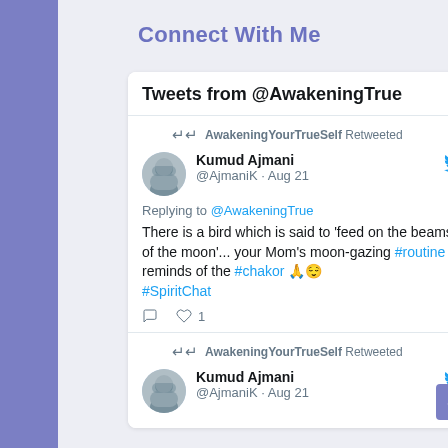Connect With Me
Tweets from @AwakeningTrue
AwakeningYourTrueSelf Retweeted
Kumud Ajmani
@AjmaniK · Aug 21
Replying to @AwakeningTrue
There is a bird which is said to 'feed on the beams of the moon'... your Mom's moon-gazing #routine  reminds of the #chakor 🙏😌
#SpiritChat
AwakeningYourTrueSelf Retweeted
Kumud Ajmani
@AjmaniK · Aug 21